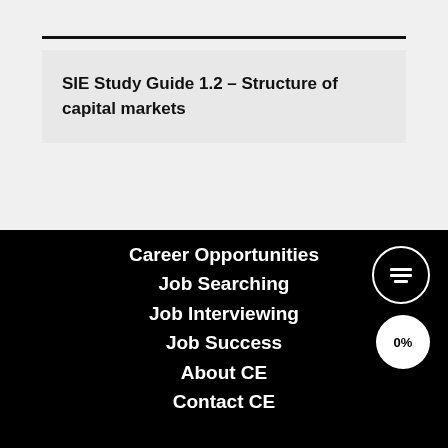SIE Study Guide 1.2 – Structure of capital markets
Career Opportunities
Job Searching
Job Interviewing
Job Success
About CE
Contact CE